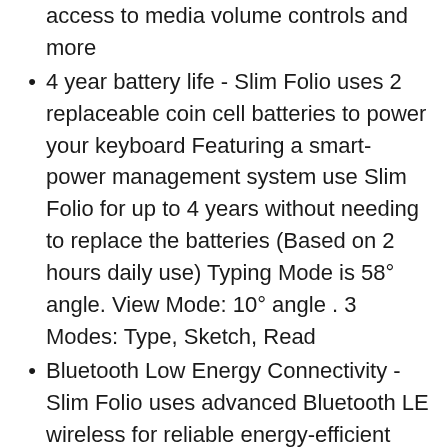access to media volume controls and more
4 year battery life - Slim Folio uses 2 replaceable coin cell batteries to power your keyboard Featuring a smart-power management system use Slim Folio for up to 4 years without needing to replace the batteries (Based on 2 hours daily use) Typing Mode is 58° angle. View Mode: 10° angle . 3 Modes: Type, Sketch, Read
Bluetooth Low Energy Connectivity - Slim Folio uses advanced Bluetooth LE wireless for reliable energy-efficient connection
Protection from bumps scratches and spills - Slim Folio carefully envelopes your iPad for all-around protection against bumps scratches and spills On the inside a lightweight frame